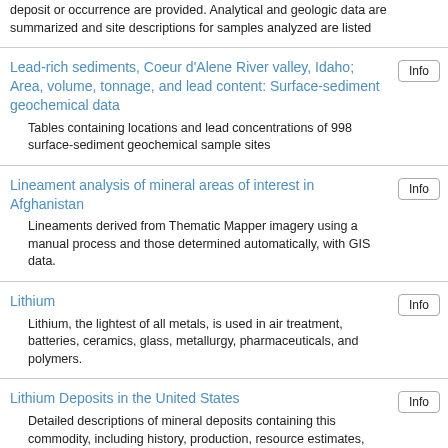deposit or occurrence are provided. Analytical and geologic data are summarized and site descriptions for samples analyzed are listed
Lead-rich sediments, Coeur d'Alene River valley, Idaho; Area, volume, tonnage, and lead content: Surface-sediment geochemical data
Tables containing locations and lead concentrations of 998 surface-sediment geochemical sample sites
Lineament analysis of mineral areas of interest in Afghanistan
Lineaments derived from Thematic Mapper imagery using a manual process and those determined automatically, with GIS data.
Lithium
Lithium, the lightest of all metals, is used in air treatment, batteries, ceramics, glass, metallurgy, pharmaceuticals, and polymers.
Lithium Deposits in the United States
Detailed descriptions of mineral deposits containing this commodity, including history, production, resource estimates, and geographic features. Data are provided in CSV, shapefile